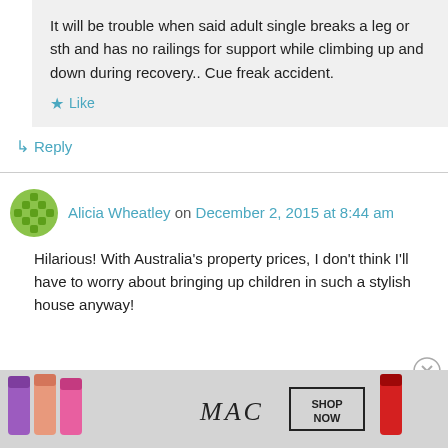It will be trouble when said adult single breaks a leg or sth and has no railings for support while climbing up and down during recovery.. Cue freak accident.
★ Like
↳ Reply
Alicia Wheatley on December 2, 2015 at 8:44 am
Hilarious! With Australia's property prices, I don't think I'll have to worry about bringing up children in such a stylish house anyway!
Advertisements
[Figure (photo): MAC cosmetics advertisement banner showing lipsticks in purple, peach, and red/pink colors with MAC logo and SHOP NOW button]